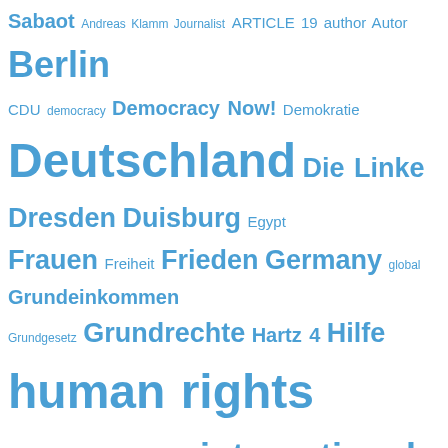[Figure (infographic): Tag cloud with words in various sizes in blue color. Words include: Sabaot, Andreas Klamm Journalist, ARTICLE 19 author Autor, Berlin, CDU, democracy, Democracy Now!, Demokratie, Deutschland, Die Linke, Dresden, Duisburg, Egypt, Frauen, Freiheit, Frieden, Germany, global, Grundeinkommen, Grundgesetz, Grundrechte, Hartz 4, Hilfe, human rights, IBS Television, Liberty, information, international, Jakob von Uexkuell, Joachim Gauck, John Baptist Mission of Togo, journalist, Journalisten, Katastrophe, liberty, Liberty and Peace NOW!, Liberty and Peace NOW! Human Rights Reporters, Libyen, Loveparade, Ludwigshafen, media, Medien, Menschen, Menschenrechte, music, music producer, New York, not peace, Petition, Politik, Polizei, radio, Radio TV IBS Liberty, Rheinland-Pfalz, Rundfunk, Journalist, singer, song writer, Soziales]